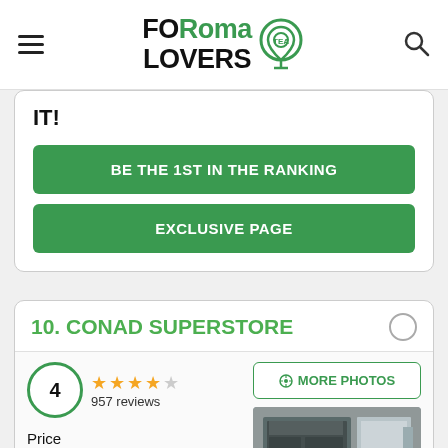FORoma LOVERS
IT!
BE THE 1ST IN THE RANKING
EXCLUSIVE PAGE
10. CONAD SUPERSTORE
4 — 4 stars — 957 reviews
MORE PHOTOS
Price   ★★★★☆  4.7
Variety
[Figure (photo): Exterior photo of Conad Superstore entrance with glass doors and store interior visible]